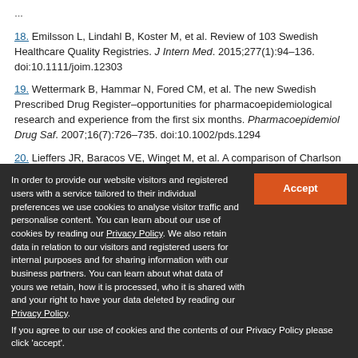18. Emilsson L, Lindahl B, Koster M, et al. Review of 103 Swedish Healthcare Quality Registries. J Intern Med. 2015;277(1):94–136. doi:10.1111/joim.12303
19. Wettermark B, Hammar N, Fored CM, et al. The new Swedish Prescribed Drug Register–opportunities for pharmacoepidemiological research and experience from the first six months. Pharmacoepidemiol Drug Saf. 2007;16(7):726–735. doi:10.1002/pds.1294
20. Lieffers JR, Baracos VE, Winget M, et al. A comparison of Charlson and Elixhauser comorbidity measures to predict
In order to provide our website visitors and registered users with a service tailored to their individual preferences we use cookies to analyse visitor traffic and personalise content. You can learn about our use of cookies by reading our Privacy Policy. We also retain data in relation to our visitors and registered users for internal purposes and for sharing information with our business partners. You can learn about what data of yours we retain, how it is processed, who it is shared with and your right to have your data deleted by reading our Privacy Policy. If you agree to our use of cookies and the contents of our Privacy Policy please click 'accept'.